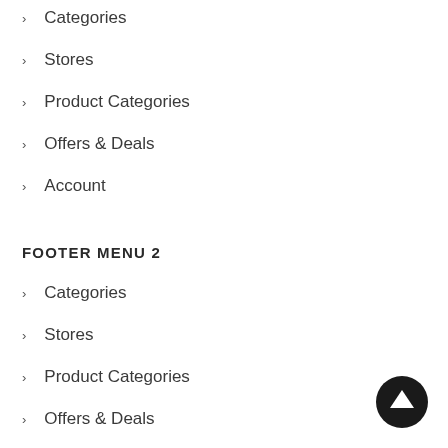Categories
Stores
Product Categories
Offers & Deals
Account
FOOTER MENU 2
Categories
Stores
Product Categories
Offers & Deals
Account
[Figure (illustration): Back to top arrow button — black circle with white upward arrow]